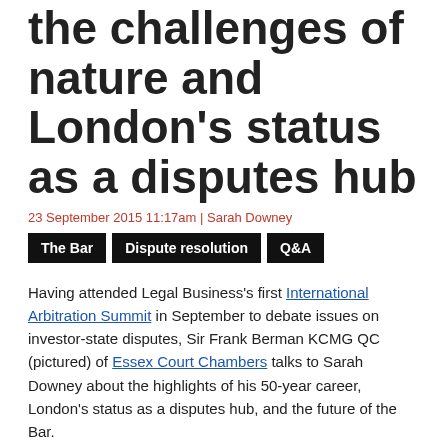the challenges of nature and London's status as a disputes hub
23 September 2015 11:17am | Sarah Downey
The Bar
Dispute resolution
Q&A
Having attended Legal Business's first International Arbitration Summit in September to debate issues on investor-state disputes, Sir Frank Berman KCMG QC (pictured) of Essex Court Chambers talks to Sarah Downey about the highlights of his 50-year career, London's status as a disputes hub, and the future of the Bar.
What initially stoked your interest in the law and following that, your specialisation in arbitration?